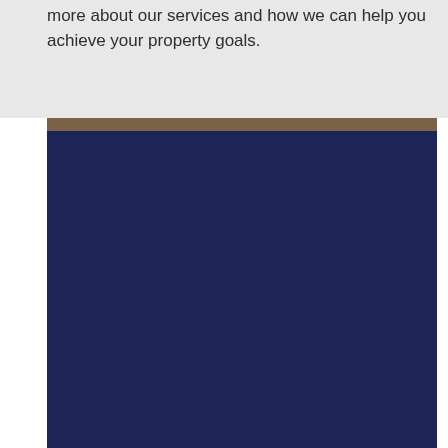more about our services and how we can help you achieve your property goals.
[Figure (other): Decorative section divider with a tan/brown horizontal bar above a large dark navy blue rectangular block, likely a footer or section background element.]